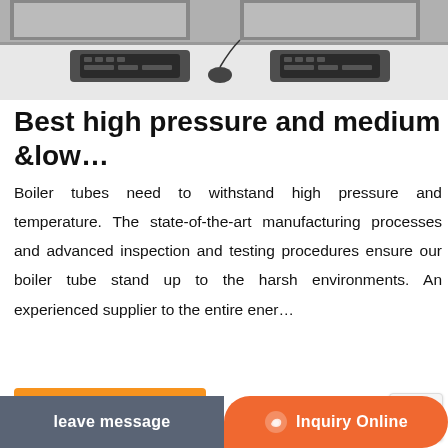[Figure (photo): Photo of a computer workstation / lab with keyboards on white desks, viewed from above]
Best high pressure and medium &low…
Boiler tubes need to withstand high pressure and temperature. The state-of-the-art manufacturing processes and advanced inspection and testing procedures ensure our boiler tube stand up to the harsh environments. An experienced supplier to the entire ener…
[Figure (photo): Industrial boiler room with blue machinery, red pipes, and a tall chimney stack inside a white building]
leave message
Inquiry Online